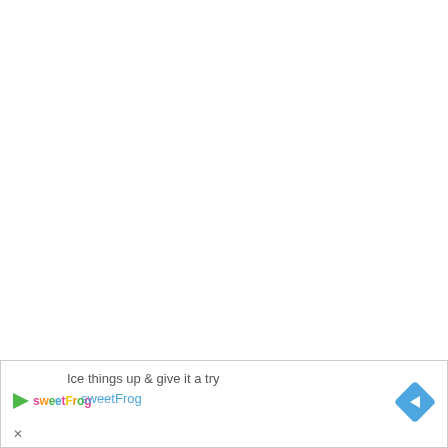[Figure (infographic): Advertisement banner for sweetFrog frozen yogurt. Contains the sweetFrog logo (a green triangle play button icon and 'sweetFrog' wordmark in colorful letters), the tagline 'Ice things up & give it a try', the brand name 'sweetFrog' in blue text, a blue diamond-shaped directional arrow icon on the right, and a close (X) button at the bottom left.]